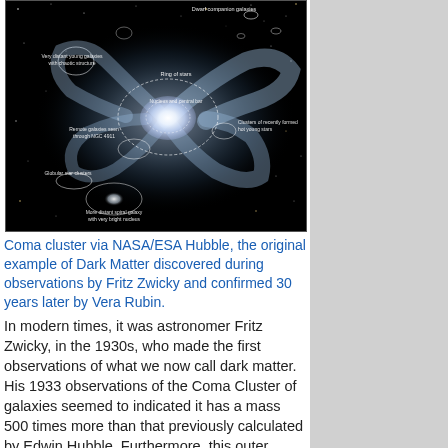[Figure (photo): Annotated Hubble Space Telescope image of a spiral galaxy (NGC 4911 in the Coma cluster) showing labeled features: Dwarf companion galaxies, Ring of stars, Nucleus and central bar, Clusters of recently formed hot young stars, Remote galaxies seen through NGC 4911, Very distant young galaxies with chaotic structure, Globular star clusters, More distant spiral galaxy with very bright nucleus. Deep-field black background with stars and the large spiral galaxy dominating the center.]
Coma cluster via NASA/ESA Hubble, the original example of Dark Matter discovered during observations by Fritz Zwicky and confirmed 30 years later by Vera Rubin.
In modern times, it was astronomer Fritz Zwicky, in the 1930s, who made the first observations of what we now call dark matter. His 1933 observations of the Coma Cluster of galaxies seemed to indicated it has a mass 500 times more than that previously calculated by Edwin Hubble. Furthermore, this outer